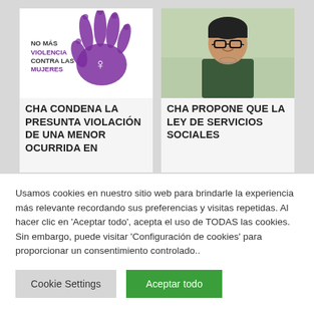[Figure (illustration): Purple hand print with text 'NO MÁS VIOLENCIA CONTRA LAS MUJERES' anti-violence logo]
CHA CONDENA LA PRESUNTA VIOLACIÓN DE UNA MENOR OCURRIDA EN
[Figure (photo): Portrait photo of a woman with short dark hair and glasses wearing a dark green top]
CHA PROPONE QUE LA LEY DE SERVICIOS SOCIALES
Usamos cookies en nuestro sitio web para brindarle la experiencia más relevante recordando sus preferencias y visitas repetidas. Al hacer clic en 'Aceptar todo', acepta el uso de TODAS las cookies. Sin embargo, puede visitar 'Configuración de cookies' para proporcionar un consentimiento controlado..
Cookie Settings
Aceptar todo